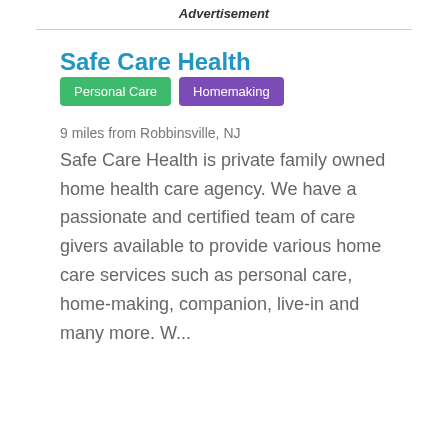Advertisement
Safe Care Health
Personal Care
Homemaking
9 miles from Robbinsville, NJ
Safe Care Health is private family owned home health care agency. We have a passionate and certified team of care givers available to provide various home care services such as personal care, home-making, companion, live-in and many more. W...